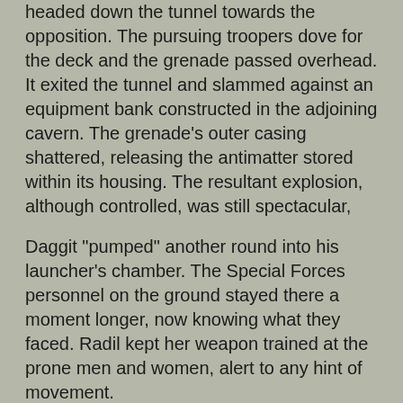headed down the tunnel towards the opposition. The pursuing troopers dove for the deck and the grenade passed overhead. It exited the tunnel and slammed against an equipment bank constructed in the adjoining cavern. The grenade's outer casing shattered, releasing the antimatter stored within its housing. The resultant explosion, although controlled, was still spectacular,
Daggit "pumped" another round into his launcher's chamber. The Special Forces personnel on the ground stayed there a moment longer, now knowing what they faced. Radil kept her weapon trained at the prone men and women, alert to any hint of movement.
Kort reached the equipment room and cautiously entered into with his rifle poised and ready. Danan followed him, covering the right side of the room while he covered the left. Macen and T'Kir entered and began to keep their pistols drawn on the upper veranda. Daggit exited, still focused on the tunnel. Radil moved out of the tunnel and slid to the side of the entrance, where she could still target any attempt to pursue the team.
A Special Forces trooper suddenly appeared from the left and fired...